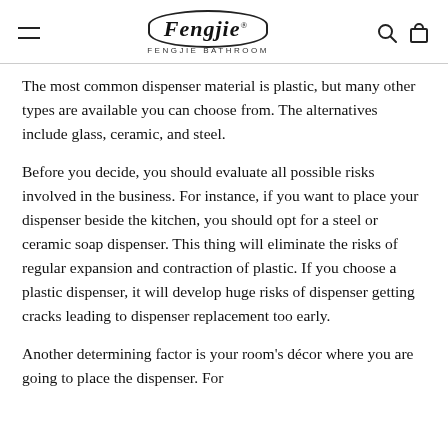Fengjie® FENGJIE BATHROOM
The most common dispenser material is plastic, but many other types are available you can choose from. The alternatives include glass, ceramic, and steel.
Before you decide, you should evaluate all possible risks involved in the business. For instance, if you want to place your dispenser beside the kitchen, you should opt for a steel or ceramic soap dispenser. This thing will eliminate the risks of regular expansion and contraction of plastic. If you choose a plastic dispenser, it will develop huge risks of dispenser getting cracks leading to dispenser replacement too early.
Another determining factor is your room's décor where you are going to place the dispenser. For